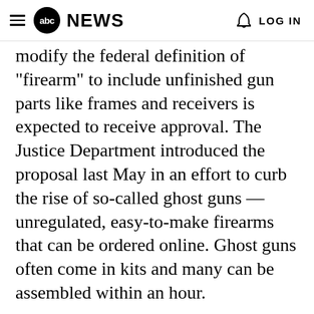abc NEWS  LOG IN
modify the federal definition of "firearm" to include unfinished gun parts like frames and receivers is expected to receive approval. The Justice Department introduced the proposal last May in an effort to curb the rise of so-called ghost guns — unregulated, easy-to-make firearms that can be ordered online. Ghost guns often come in kits and many can be assembled within an hour.
MORE: 'Ghost guns' showing up in school shootings, experts fear trend will get worse